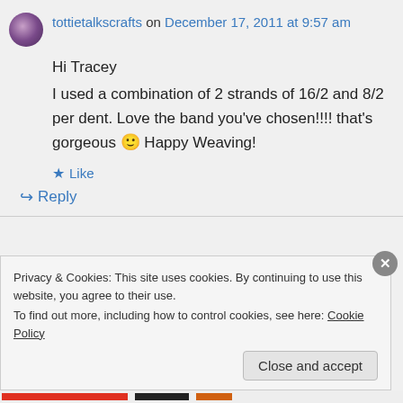tottietalkscrafts on December 17, 2011 at 9:57 am
Hi Tracey
I used a combination of 2 strands of 16/2 and 8/2 per dent. Love the band you've chosen!!!! that's gorgeous 🙂 Happy Weaving!
Like
Reply
Privacy & Cookies: This site uses cookies. By continuing to use this website, you agree to their use.
To find out more, including how to control cookies, see here: Cookie Policy
Close and accept